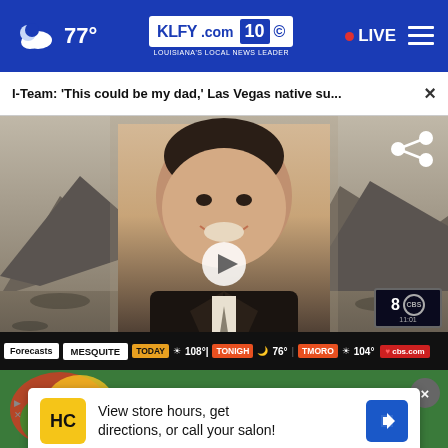77° KLFY.com 10 • LIVE
I-Team: 'This could be my dad,' Las Vegas native su...
[Figure (screenshot): Video thumbnail showing a vintage portrait photo of a smiling man in a suit against a desert landscape background, with a weather forecast bar showing MESQUITE TODAY 108° TONIGH 76° TMORO 104°]
View store hours, get directions, or call your salon!